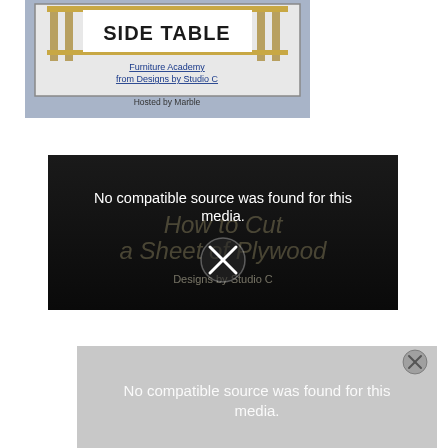[Figure (screenshot): Book/course cover image for 'Side Table' from Furniture Academy from Designs by Studio C, hosted by Marble. Shows a side table with golden/brass legs on a blue-gray background with underlined text links.]
[Figure (screenshot): Video player with dark/black background showing error message 'No compatible source was found for this media.' with an X close button and ghosted text 'How to Cut a Sheet of Plywood' and 'Designs by Studio C' watermark.]
[Figure (screenshot): Partial video player at bottom with light gray/white background showing error message 'No compatible source was found for this media.' partially visible, with a close button circle in upper right.]